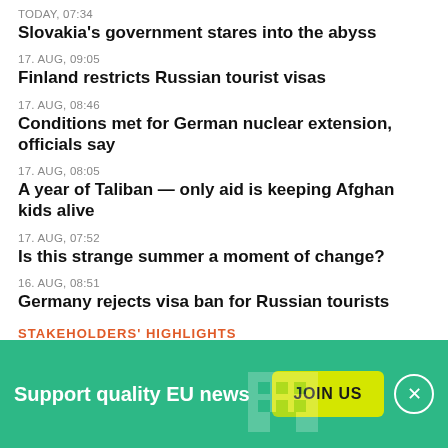TODAY, 07:34
Slovakia's government stares into the abyss
17. AUG, 09:05
Finland restricts Russian tourist visas
17. AUG, 08:46
Conditions met for German nuclear extension, officials say
17. AUG, 08:05
A year of Taliban — only aid is keeping Afghan kids alive
17. AUG, 07:52
Is this strange summer a moment of change?
16. AUG, 08:51
Germany rejects visa ban for Russian tourists
STAKEHOLDERS' HIGHLIGHTS
Support quality EU news  JOIN US